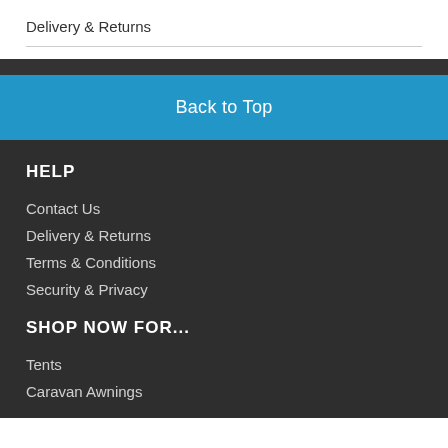Delivery & Returns
Back to Top
HELP
Contact Us
Delivery & Returns
Terms & Conditions
Security & Privacy
SHOP NOW FOR...
Tents
Caravan Awnings